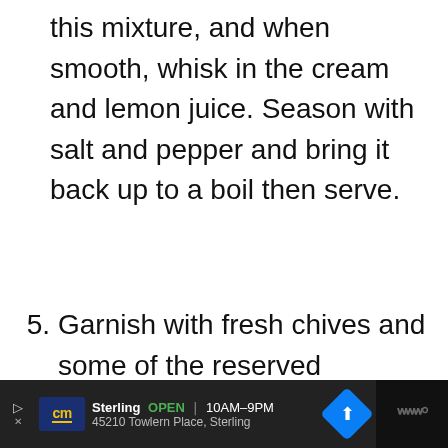this mixture, and when smooth, whisk in the cream and lemon juice. Season with salt and pepper and bring it back up to a boil then serve.
5. Garnish with fresh chives and some of the reserved blanched asparagus tips.
[Figure (screenshot): UI overlay showing heart/like button with teal background, count of 158, and share button]
[Figure (screenshot): What's Next panel showing link to Keto Cream of Mushroom... with thumbnail]
[Figure (screenshot): Advertisement bar at bottom showing CM logo, Sterling store OPEN 10AM-9PM, 45210 Towlern Place Sterling, navigation icon, and weather widget]